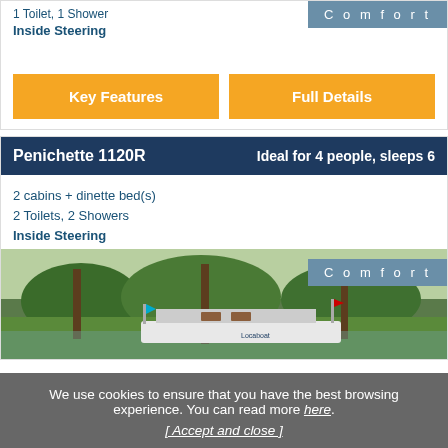1 Toilet, 1 Shower
Inside Steering
Comfort
Key Features
Full Details
Penichette 1120R — Ideal for 4 people, sleeps 6
2 cabins + dinette bed(s)
2 Toilets, 2 Showers
Inside Steering
Comfort
[Figure (photo): Canal boat moored near trees and green landscape]
We use cookies to ensure that you have the best browsing experience. You can read more here.
[ Accept and close ]